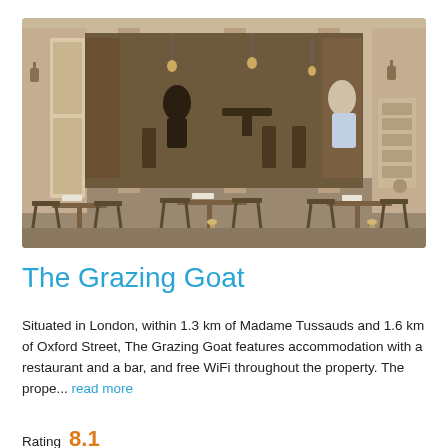[Figure (photo): Exterior and interior view of The Grazing Goat restaurant/pub, showing open wooden folding doors, large glass windows with wooden columns, people seated inside and at outdoor tables with menus, pendant lights visible inside.]
The Grazing Goat
Situated in London, within 1.3 km of Madame Tussauds and 1.6 km of Oxford Street, The Grazing Goat features accommodation with a restaurant and a bar, and free WiFi throughout the property. The prope... read more
Rating  8.1